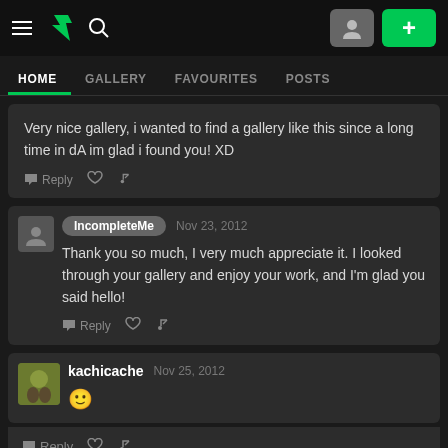DeviantArt navigation bar with hamburger menu, logo, search icon, profile button, and plus button
HOME  GALLERY  FAVOURITES  POSTS
Very nice gallery, i wanted to find a gallery like this since a long time in dA im glad i found you! XD
Reply ♡ ↺
IncompleteMe  Nov 23, 2012
Thank you so much, I very much appreciate it. I looked through your gallery and enjoy your work, and I'm glad you said hello!
Reply ♡ ↺
kachicache  Nov 25, 2012
:)
Reply